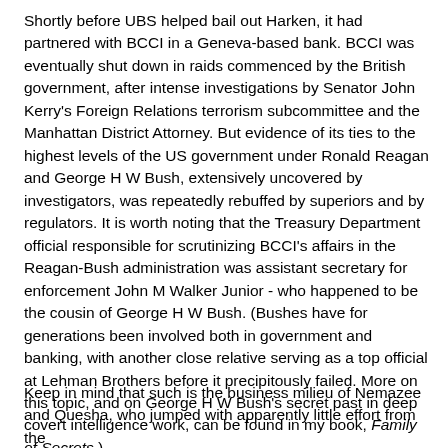Shortly before UBS helped bail out Harken, it had partnered with BCCI in a Geneva-based bank. BCCI was eventually shut down in raids commenced by the British government, after intense investigations by Senator John Kerry's Foreign Relations terrorism subcommittee and the Manhattan District Attorney. But evidence of its ties to the highest levels of the US government under Ronald Reagan and George H W Bush, extensively uncovered by investigators, was repeatedly rebuffed by superiors and by regulators. It is worth noting that the Treasury Department official responsible for scrutinizing BCCI's affairs in the Reagan-Bush administration was assistant secretary for enforcement John M Walker Junior - who happened to be the cousin of George H W Bush. (Bushes have for generations been involved both in government and banking, with another close relative serving as a top official at Lehman Brothers before it precipitously failed. More on this topic, and on George H W Bush's secret past in deep covert intelligence work, can be found in my book, Family of Secrets.)
Keep in mind that such is the business milieu of Nemazee and Quesha, who jumped with apparently little effort from the